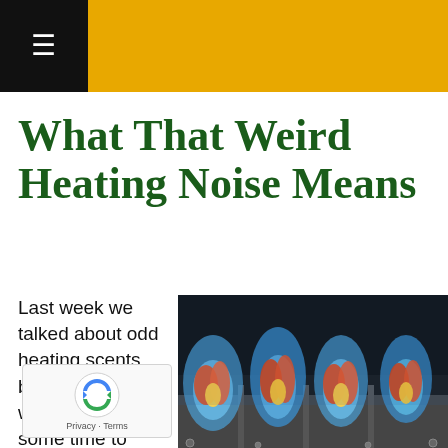What That Weird Heating Noise Means
Last week we talked about odd heating scents, but this week, we'd like to take some time to discuss heating both of the problems can happen to
[Figure (photo): Close-up photo of gas furnace burners with blue and red/orange flames burning on a row of burner tubes]